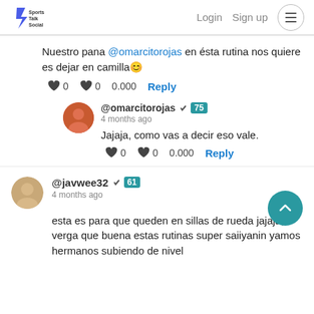Sports Talk Social | Login | Sign up
Nuestro pana @omarcitorojas en ésta rutina nos quiere es dejar en camilla😊
♥ 0  ♥ 0  0.000  Reply
@omarcitorojas ✓ 75
4 months ago
Jajaja, como vas a decir eso vale.
♥ 0  ♥ 0  0.000  Reply
@javwee32 ✓ 61
4 months ago
esta es para que queden en sillas de rueda jajaja, verga que buena estas rutinas super saiiyanin yamos hermanos subiendo de nivel